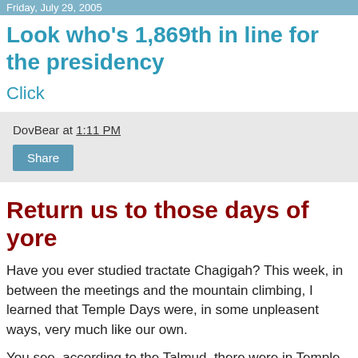Friday, July 29, 2005
Look who's 1,869th in line for the presidency
Click
DovBear at 1:11 PM
Return us to those days of yore
Have you ever studied tractate Chagigah? This week, in between the meetings and the mountain climbing, I learned that Temple Days were, in some unpleasent ways, very much like our own.
You see, according to the Talmud, there were in Temple Days two classes of people: (1) Perushim who wore